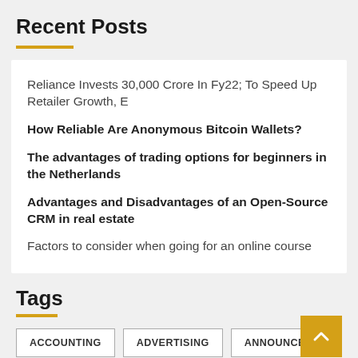Recent Posts
Reliance Invests 30,000 Crore In Fy22; To Speed Up Retailer Growth, E
How Reliable Are Anonymous Bitcoin Wallets?
The advantages of trading options for beginners in the Netherlands
Advantages and Disadvantages of an Open-Source CRM in real estate
Factors to consider when going for an online course
Tags
ACCOUNTING
ADVERTISING
ANNOUNCES